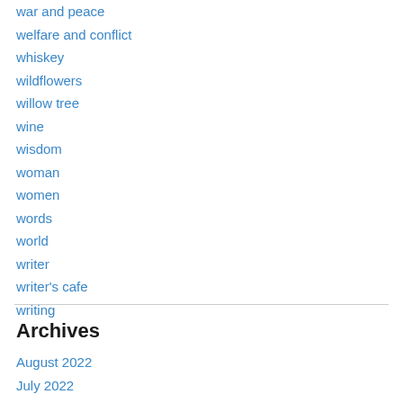war and peace
welfare and conflict
whiskey
wildflowers
willow tree
wine
wisdom
woman
women
words
world
writer
writer's cafe
writing
Archives
August 2022
July 2022
June 2022